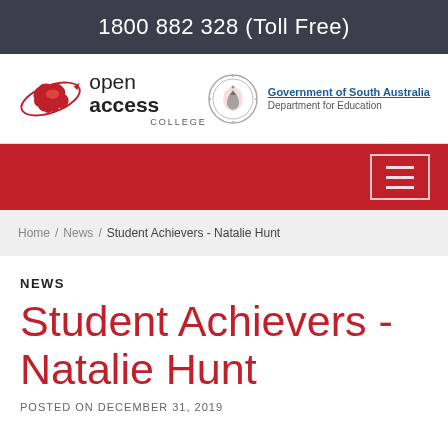1800 882 328 (Toll Free)
[Figure (logo): Open Access College logo with Australian map icon and orbit ring, and Government of South Australia Department for Education logo with circular emblem]
[Figure (other): Red navigation bar with hamburger menu button (three horizontal lines in white bordered box)]
Home / News / Student Achievers - Natalie Hunt
NEWS
Student Achievers - Natalie Hunt
POSTED ON DECEMBER 31, 2019